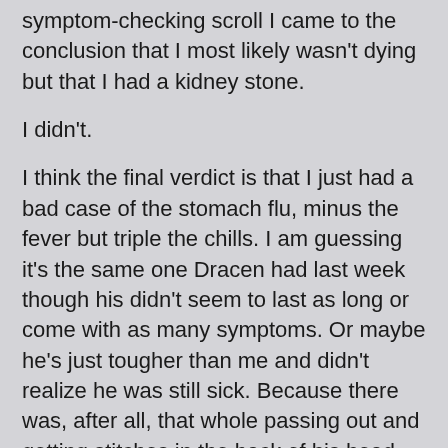symptom-checking scroll I came to the conclusion that I most likely wasn't dying but that I had a kidney stone.
I didn't.
I think the final verdict is that I just had a bad case of the stomach flu, minus the fever but triple the chills. I am guessing it's the same one Dracen had last week though his didn't seem to last as long or come with as many symptoms.  Or maybe he's just tougher than me and didn't realize he was still sick.  Because there was, after all, that whole passing out and getting stitches in the back of his head incident that nearly finished me in last Saturday.
He was scheduled to get his stitches out after school yesterday and I was sure he knew about it since he was standing right there beside me at the doctor's office on Monday when I made the appointment and I